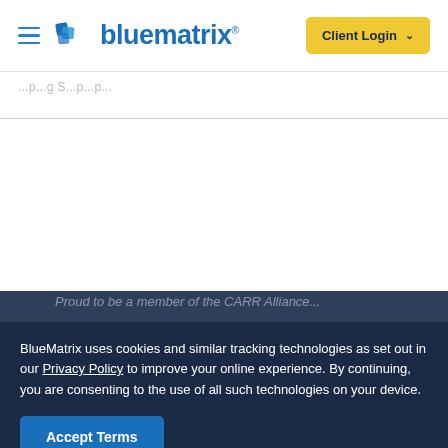[Figure (logo): BlueMatrix logo with hamburger menu icon on the left and 'Client Login' button on the right in the header navigation bar]
bluematrix®   Client Login
Proud to be a member of the CARR Alliance...
BlueMatrix uses cookies and similar tracking technologies as set out in our Privacy Policy to improve your online experience. By continuing, you are consenting to the use of all such technologies on your device.
Accept Terms